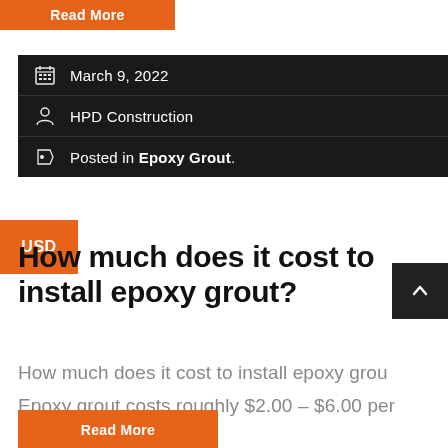Read More
March 9, 2022
HPD Construction
Posted in Epoxy Grout.
How much does it cost to install epoxy grout?
How much does it cost to install epoxy grout
Epoxy grout costs roughly $2.00 – $6.00 per
Read More